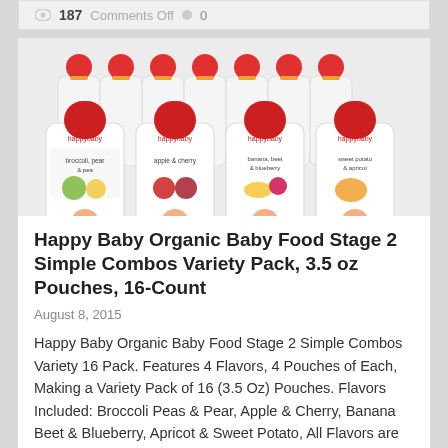187   Comments Off   0
[Figure (photo): Multiple Happy Baby organic baby food pouches with red caps arranged in rows showing broccoli peas & pear, apple & cherry, banana beet & blueberry, and sweet potato & apricot flavors]
Happy Baby Organic Baby Food Stage 2 Simple Combos Variety Pack, 3.5 oz Pouches, 16-Count
August 8, 2015
Happy Baby Organic Baby Food Stage 2 Simple Combos Variety 16 Pack. Features 4 Flavors, 4 Pouches of Each, Making a Variety Pack of 16 (3.5 Oz) Pouches. Flavors Included: Broccoli Peas & Pear, Apple & Cherry, Banana Beet & Blueberry, Apricot & Sweet Potato, All Flavors are Stage 2 Simple